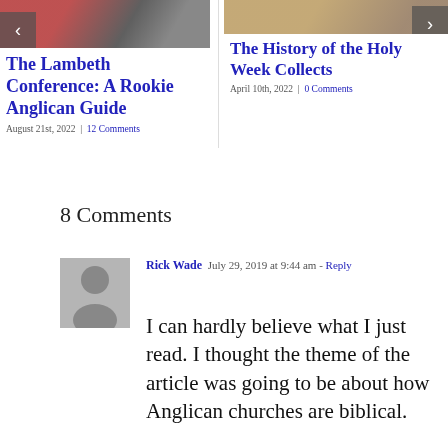[Figure (photo): Left article thumbnail image showing people in red clothing]
The Lambeth Conference: A Rookie Anglican Guide
August 21st, 2022  |  12 Comments
[Figure (photo): Right article thumbnail image showing a person]
The History of the Holy Week Collects
April 10th, 2022  |  0 Comments
8 Comments
Rick Wade  July 29, 2019 at 9:44 am - Reply
I can hardly believe what I just read. I thought the theme of the article was going to be about how Anglican churches are biblical.